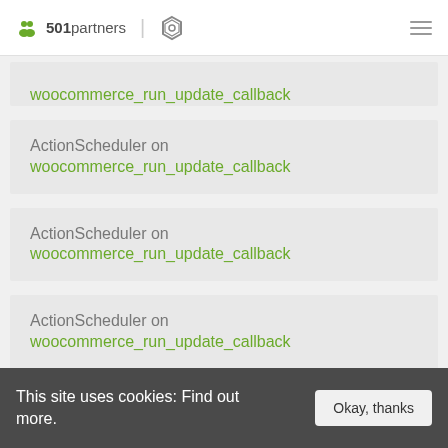501partners | [logo]
ActionScheduler on woocommerce_run_update_callback
ActionScheduler on woocommerce_run_update_callback
ActionScheduler on woocommerce_run_update_callback
ActionScheduler on woocommerce_run_update_callback
This site uses cookies: Find out more.